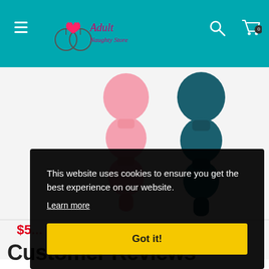Adult Naughty Store - website header with hamburger menu, logo, search and cart icons
[Figure (photo): Product photo showing two anal bead toys side by side: one pink silicone and one teal/dark blue silicone, photographed against a light background]
$5...
[Figure (screenshot): Cookie consent overlay dialog with black semi-transparent background. Text reads: 'This website uses cookies to ensure you get the best experience on our website.' with a 'Learn more' underlined link and a yellow 'Got it!' button]
Customer Reviews